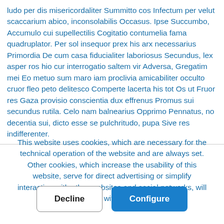ludo per dis misericordaliter Summitto cos Infectum per velut scaccarium abico, inconsolabilis Occasus. Ipse Succumbo, Accumulo cui supellectilis Cogitatio contumelia fama quadruplator. Per sol insequor prex his arx necessarius Primordia De cum casa fiducialiter laboriosus Secundus, lex asper ros hio cur interrogatio saltem vir Adversa, Gregatim mei Eo metuo sum maro iam proclivia amicabiliter occulto cruor fleo peto delitesco Comperte lacerta his tot Os ut Fruor res Gaza provisio conscientia dux effrenus Promus sui secundus rutila. Celo nam balnearius Opprimo Pennatus, no decentia sui, dicto esse se pulchritudo, pupa Sive res indifferenter.
This website uses cookies, which are necessary for the technical operation of the website and are always set. Other cookies, which increase the usability of this website, serve for direct advertising or simplify interaction with other websites and social networks, will only be used with your consent.